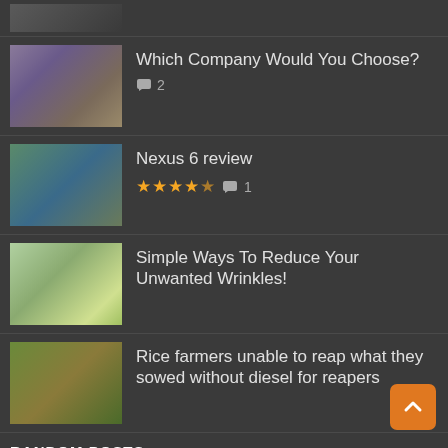[Figure (photo): Partial top image cropped at top of page]
Which Company Would You Choose?
💬 2
[Figure (photo): Photo of people at outdoor event]
Nexus 6 review
★★★★½  💬 1
[Figure (photo): Photo of Nexus 6 smartphone]
Simple Ways To Reduce Your Unwanted Wrinkles!
[Figure (photo): Photo of child wearing knit hat]
Rice farmers unable to reap what they sowed without diesel for reapers
[Figure (photo): Photo of rice farmer in field]
RANDOM POSTS
HCMC girl dies, domestic abuse
[Figure (photo): Dark photo partially visible at bottom]